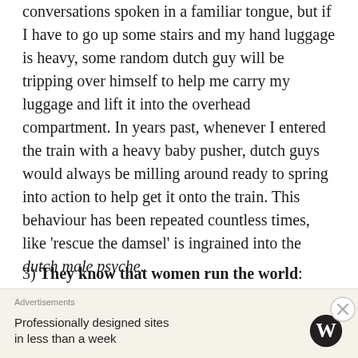conversations spoken in a familiar tongue, but if I have to go up some stairs and my hand luggage is heavy, some random dutch guy will be tripping over himself to help me carry my luggage and lift it into the overhead compartment. In years past, whenever I entered the train with a heavy baby pusher, dutch guys would always be milling around ready to spring into action to help get it onto the train. This behaviour has been repeated countless times, like 'rescue the damsel' is ingrained into the dutch male psyche.
3) They know that women run the world: Queens have held reign in the House of Orange like forever,...well from 1890 to 2013 to be precise, so I find dutch guys in some
[Figure (other): Advertisement banner: Professionally designed sites in less than a week, with WordPress logo]